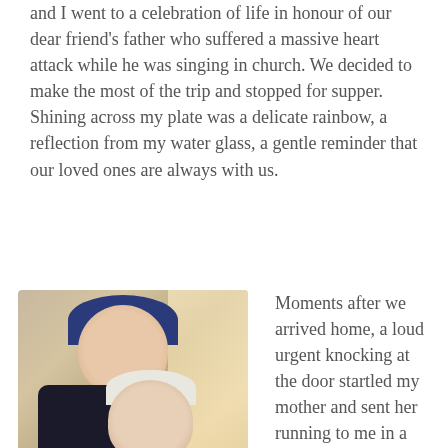and I went to a celebration of life in honour of our dear friend's father who suffered a massive heart attack while he was singing in church. We decided to make the most of the trip and stopped for supper. Shining across my plate was a delicate rainbow, a reflection from my water glass, a gentle reminder that our loved ones are always with us.
[Figure (photo): A young boy wearing a blue baseball cap hugging an elderly woman who is smiling. The elderly woman is wearing a red top and grey jacket. The background shows warm indoor lighting.]
Moments after we arrived home, a loud urgent knocking at the door startled my mother and sent her running to me in a panic. “Nonna collapsed in church and my car won’t